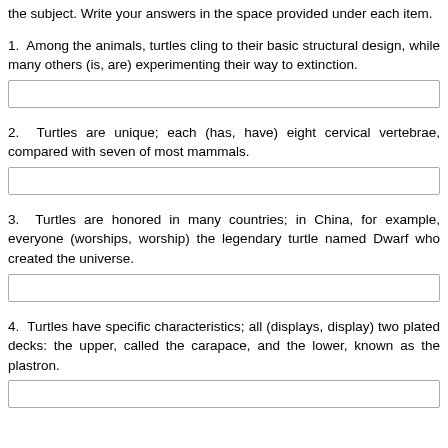the subject. Write your answers in the space provided under each item.
1. Among the animals, turtles cling to their basic structural design, while many others (is, are) experimenting their way to extinction.
2. Turtles are unique; each (has, have) eight cervical vertebrae, compared with seven of most mammals.
3. Turtles are honored in many countries; in China, for example, everyone (worships, worship) the legendary turtle named Dwarf who created the universe.
4. Turtles have specific characteristics; all (displays, display) two plated decks: the upper, called the carapace, and the lower, known as the plastron.